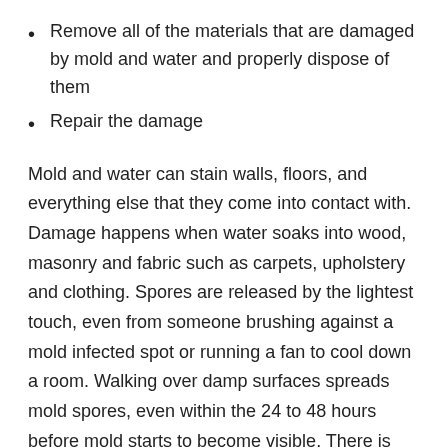Remove all of the materials that are damaged by mold and water and properly dispose of them
Repair the damage
Mold and water can stain walls, floors, and everything else that they come into contact with. Damage happens when water soaks into wood, masonry and fabric such as carpets, upholstery and clothing. Spores are released by the lightest touch, even from someone brushing against a mold infected spot or running a fan to cool down a room. Walking over damp surfaces spreads mold spores, even within the 24 to 48 hours before mold starts to become visible. There is also the danger of water and moisture damaging electrical wiring and creating a fire hazard.